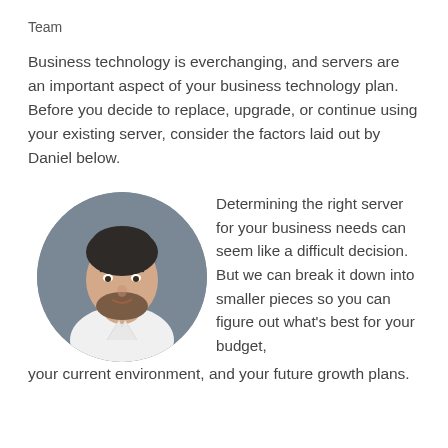Team
Business technology is everchanging, and servers are an important aspect of your business technology plan. Before you decide to replace, upgrade, or continue using your existing server, consider the factors laid out by Daniel below.
[Figure (photo): Circular headshot photo of a man with short dark hair and a beard, wearing a white shirt, against a grey background.]
Determining the right server for your business needs can seem like a difficult decision. But we can break it down into smaller pieces so you can figure out what’s best for your budget, your current environment, and your future growth plans.